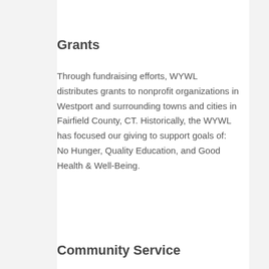Grants
Through fundraising efforts, WYWL distributes grants to nonprofit organizations in Westport and surrounding towns and cities in Fairfield County, CT. Historically, the WYWL has focused our giving to support goals of: No Hunger, Quality Education, and Good Health & Well-Being.
Community Service